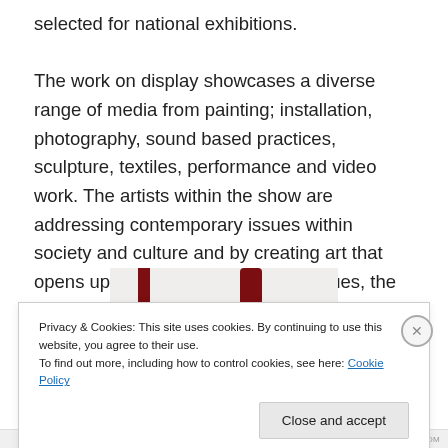selected for national exhibitions.

The work on display showcases a diverse range of media from painting; installation, photography, sound based practices, sculpture, textiles, performance and video work. The artists within the show are addressing contemporary issues within society and culture and by creating art that opens up a dialogue about these issues, the audience are invited to be part of the discussion.
[Figure (photo): Partial photo showing two dark red vertical shapes on a light background, cropped by the cookie consent banner.]
Privacy & Cookies: This site uses cookies. By continuing to use this website, you agree to their use.
To find out more, including how to control cookies, see here: Cookie Policy
Close and accept
WORDPRESS.COM